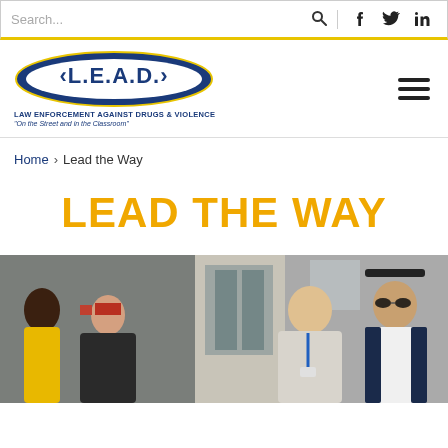Search...  [search icon] [facebook] [twitter] [linkedin]
[Figure (logo): L.E.A.D. Law Enforcement Against Drugs & Violence logo with oval shape and tagline 'On the Street and in the Classroom']
Home > Lead the Way
LEAD THE WAY
[Figure (photo): Group photo of four people standing outside a building. Two women on the left wearing yellow and dark clothing, two men on the right in casual and business casual attire.]